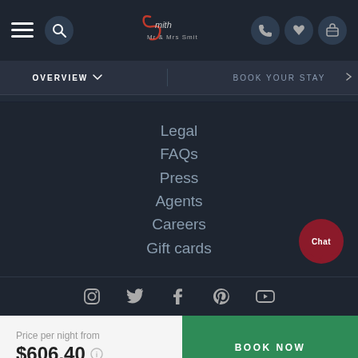Mr & Mrs Smith navigation bar with menu icon, search, logo, phone, heart, and luggage icons
OVERVIEW  ∨  BOOK YOUR STAY
Legal
FAQs
Press
Agents
Careers
Gift cards
[Figure (screenshot): Chat bubble button with text 'Chat' on dark red circle]
[Figure (infographic): Social media icons: Instagram, Twitter, Facebook, Pinterest, YouTube]
Price per night from
$606.40
BOOK NOW